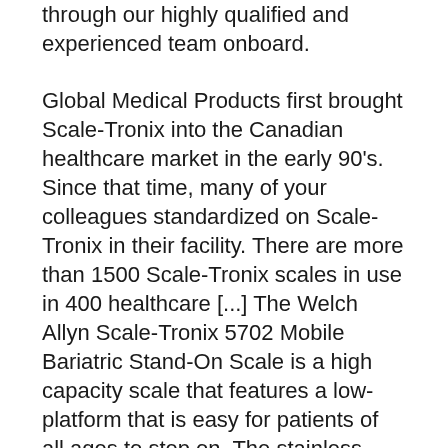through our highly qualified and experienced team onboard.
Global Medical Products first brought Scale-Tronix into the Canadian healthcare market in the early 90's. Since that time, many of your colleagues standardized on Scale-Tronix in their facility. There are more than 1500 Scale-Tronix scales in use in 400 healthcare [...] The Welch Allyn Scale-Tronix 5702 Mobile Bariatric Stand-On Scale is a high capacity scale that features a low-platform that is easy for patients of all ages to step on. The stainless steel handrail allows patients to maintain steady balance without interfering with the scale's weighing